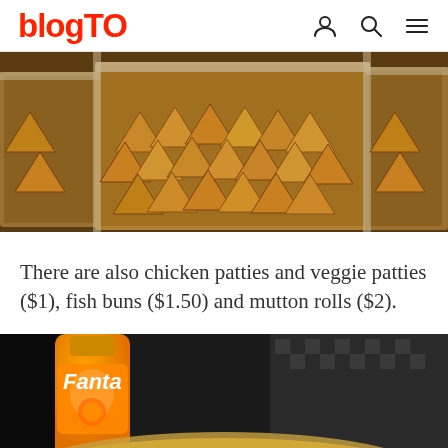blogTO
[Figure (photo): Tray of golden fried samosas/patties in metal steam table trays, food service setting]
There are also chicken patties and veggie patties ($1), fish buns ($1.50) and mutton rolls ($2).
[Figure (photo): Fanta orange soda bottle next to food on banana leaf, with rice dish, blurred background]